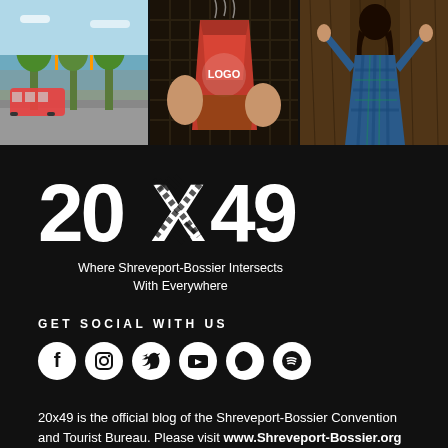[Figure (photo): Three photos side by side: left shows a street scene with trees and a trolley, center shows hands holding a coffee/drink cup, right shows a woman in a plaid shirt from behind looking at something rustic.]
[Figure (logo): 20x49 logo in large bold white text with X made of crossing road/path stripes. Tagline: Where Shreveport-Bossier Intersects With Everywhere]
GET SOCIAL WITH US
[Figure (infographic): Six social media icons in white circles: Facebook, Instagram, Twitter, YouTube, Pinterest, Spotify]
20x49 is the official blog of the Shreveport-Bossier Convention and Tourist Bureau. Please visit www.Shreveport-Bossier.org